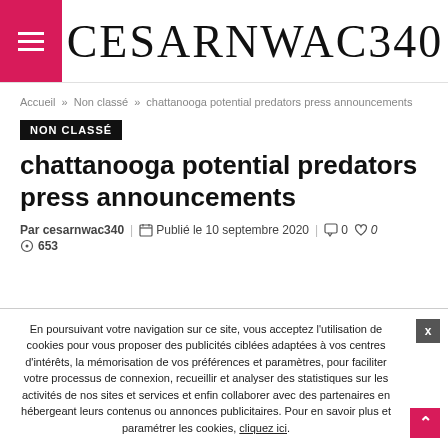CESARNWAC340
Accueil » Non classé » chattanooga potential predators press announcements
NON CLASSÉ
chattanooga potential predators press announcements
Par cesarnwac340   Publié le 10 septembre 2020   0   0   653
En poursuivant votre navigation sur ce site, vous acceptez l'utilisation de cookies pour vous proposer des publicités ciblées adaptées à vos centres d'intérêts, la mémorisation de vos préférences et paramètres, pour faciliter votre processus de connexion, recueillir et analyser des statistiques sur les activités de nos sites et services et enfin collaborer avec des partenaires en hébergeant leurs contenus ou annonces publicitaires. Pour en savoir plus et paramétrer les cookies, cliquez ici.